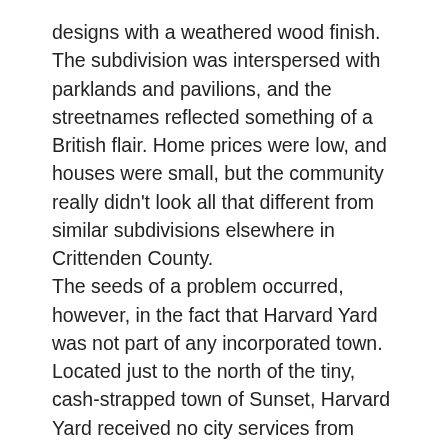designs with a weathered wood finish. The subdivision was interspersed with parklands and pavilions, and the streetnames reflected something of a British flair. Home prices were low, and houses were small, but the community really didn't look all that different from similar subdivisions elsewhere in Crittenden County. The seeds of a problem occurred, however, in the fact that Harvard Yard was not part of any incorporated town. Located just to the north of the tiny, cash-strapped town of Sunset, Harvard Yard received no city services from Sunset, nor from the larger city of Marion. Sunset had always been an all-Black community, and over time, Harvard Yard also became all-Black. Many of the houses had become owned by corporations or absentee landowners. When people moved out, houses were often abandoned. Fires were common, and the burned-out ruins were left standing, until the trees and undergrowth simply grew up around them. There was no trash pickup